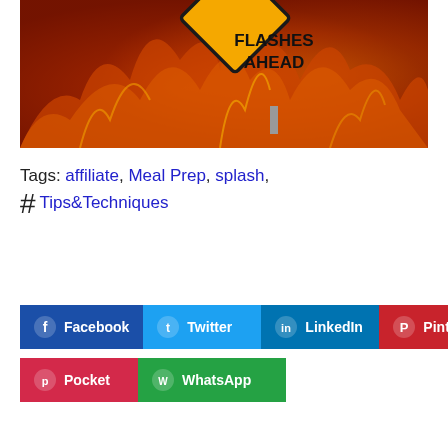[Figure (photo): A yellow diamond-shaped warning sign reading 'FLASHES AHEAD' against a fiery flame background in reds, oranges and browns.]
Tags: affiliate, Meal Prep, splash, # Tips&Techniques
Facebook  Twitter  LinkedIn  Pinterest  Pocket  WhatsApp